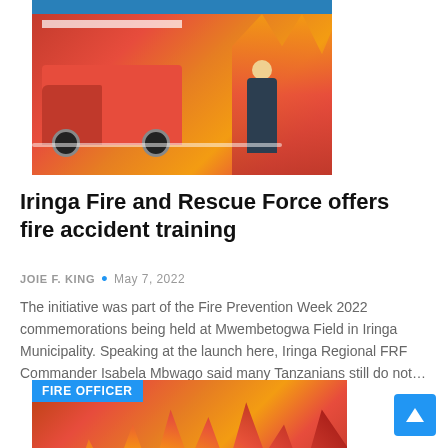[Figure (photo): Fire truck with firefighter and flames in background, blue banner strip at top]
Iringa Fire and Rescue Force offers fire accident training
JOIE F. KING • May 7, 2022
The initiative was part of the Fire Prevention Week 2022 commemorations being held at Mwembetogwa Field in Iringa Municipality. Speaking at the launch here, Iringa Regional FRF Commander Isabela Mbwago said many Tanzanians still do not…
[Figure (photo): Large fire flames image with FIRE OFFICER label badge on top left and a yellow/red banner advertisement at the bottom]